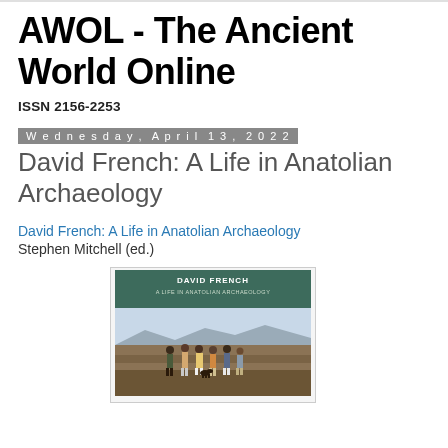AWOL - The Ancient World Online
ISSN 2156-2253
Wednesday, April 13, 2022
David French: A Life in Anatolian Archaeology
David French: A Life in Anatolian Archaeology
Stephen Mitchell (ed.)
[Figure (photo): Book cover of 'David French: A Life in Anatolian Archaeology' with a green top section showing the title text and a photograph of a group of people standing on an archaeological site in a landscape.]